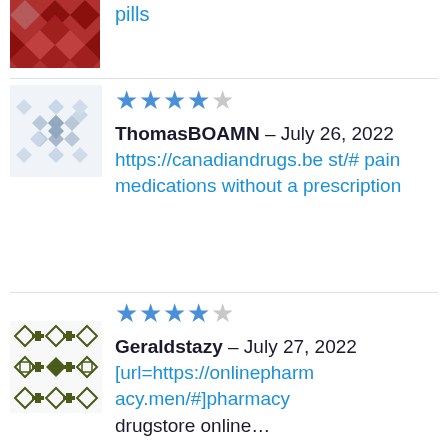[Figure (illustration): Red patterned avatar icon (diamond/cross pattern)]
how to cure Alzheimer's pills
[Figure (illustration): Light blue snowflake-like patterned avatar icon]
★★★★☆
ThomasBOAMN – July 26, 2022
https://canadiandrugs.best/# pain medications without a prescription
[Figure (illustration): Dark olive green geometric patterned avatar icon]
★★★★☆
Geraldstazy – July 27, 2022
[url=https://onlinepharmacy.men/#]pharmacy drugstore online